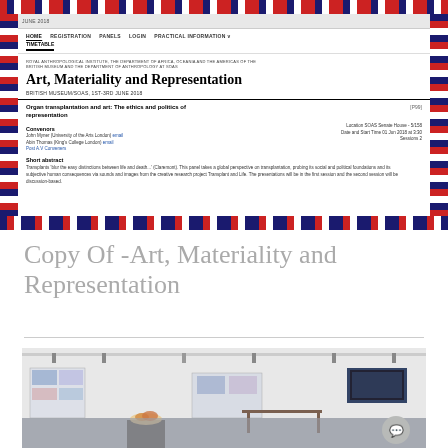[Figure (screenshot): A screenshot of the 'Art, Materiality and Representation' conference website. Shows navigation bar with HOME, REGISTRATION, PANELS, LOGIN, PRACTICAL INFORMATION, TIMETABLE. Content includes: institution names (Royal Anthropological Institute, British Museum, SOAS), the main title 'Art, Materiality and Representation', date 'BRITISH MUSEUM/SOAS, 1st-3rd JUNE 2018', a panel titled 'Organ transplantation and art: The ethics and politics of representation' with convenors listed and a short abstract. Decorated with geometric patterned borders.]
Copy Of -Art, Materiality and Representation
[Figure (photo): Interior of a modern gallery space with white walls, track lighting on the ceiling, display cases and screens along the walls, exhibition pedestals, and minimal furniture. A flower arrangement sits on a low pedestal in the foreground.]